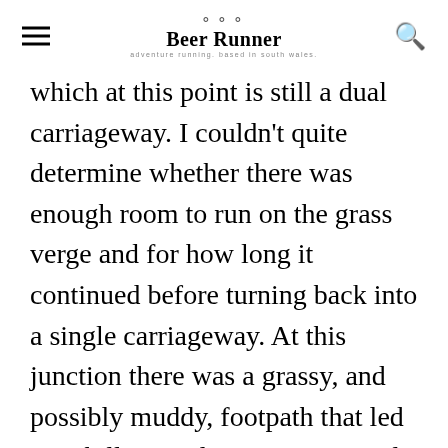Beer Runner
which at this point is still a dual carriageway. I couldn't quite determine whether there was enough room to run on the grass verge and for how long it continued before turning back into a single carriageway. At this junction there was a grassy, and possibly muddy, footpath that led up a hill towards a war memorial.
Consulting the OS Maps app on the phone I could see that the path wasn't too long and would rejoin the A48 around 500m away. Not feeling safe on the dual carriageway I took a